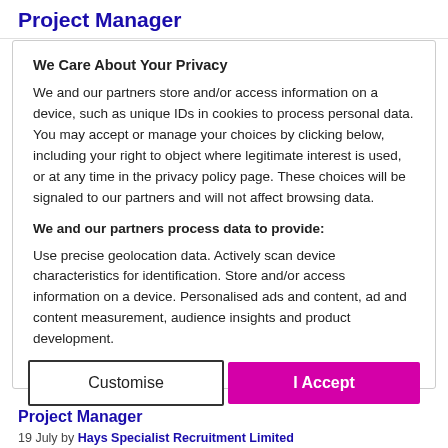Project Manager
We Care About Your Privacy
We and our partners store and/or access information on a device, such as unique IDs in cookies to process personal data. You may accept or manage your choices by clicking below, including your right to object where legitimate interest is used, or at any time in the privacy policy page. These choices will be signaled to our partners and will not affect browsing data.
We and our partners process data to provide:
Use precise geolocation data. Actively scan device characteristics for identification. Store and/or access information on a device. Personalised ads and content, ad and content measurement, audience insights and product development.
List of Partners (Vendors)
Customise
I Accept
Project Manager
19 July by Hays Specialist Recruitment Limited